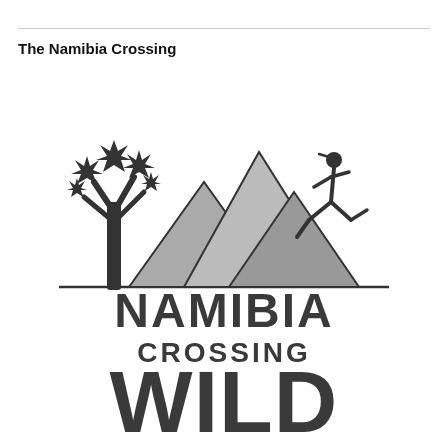The Namibia Crossing
[Figure (logo): Namibia Crossing Wild logo: silhouette of a quiver tree on left, grey mountain peaks in center-right, running figure (athlete) on right atop the mountain. Below the illustration: bold text 'NAMIBIA' on first line, 'CROSSING' on second line, 'WILD' in very large bold text on third line. All text in dark charcoal/grey.]